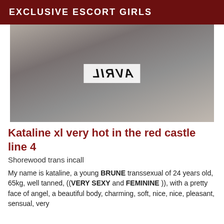EXCLUSIVE ESCORT GIRLS
[Figure (photo): A woman posing on a table with a watermark reading AVRIL (mirrored) overlaid on the image.]
Kataline xl very hot in the red castle line 4
Shorewood trans incall
My name is kataline, a young BRUNE transsexual of 24 years old, 65kg, well tanned, ((VERY SEXY and FEMININE )), with a pretty face of angel, a beautiful body, charming, soft, nice, nice, pleasant, sensual, very